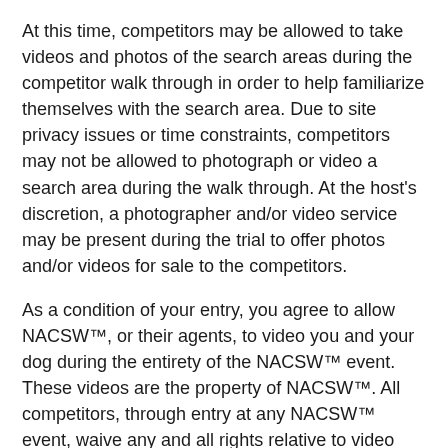At this time, competitors may be allowed to take videos and photos of the search areas during the competitor walk through in order to help familiarize themselves with the search area. Due to site privacy issues or time constraints, competitors may not be allowed to photograph or video a search area during the walk through. At the host's discretion, a photographer and/or video service may be present during the trial to offer photos and/or videos for sale to the competitors.
As a condition of your entry, you agree to allow NACSW™, or their agents, to video you and your dog during the entirety of the NACSW™ event. These videos are the property of NACSW™. All competitors, through entry at any NACSW™ event, waive any and all rights relative to video broadcast or photography of such event.
Questions:
All trial related questions, contact